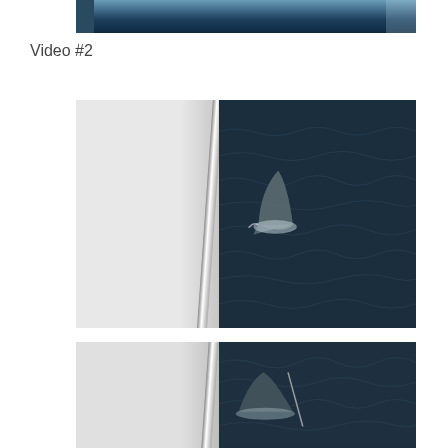[Figure (photo): Partial top of a photo showing dark ocean water with a boat edge visible on the side, viewed from above.]
Video #2
[Figure (photo): Video frame showing the starboard side of a boat hull (white/grey) on the left and dark choppy ocean water on the right with a shark or dolphin fin visible near the hull.]
[Figure (photo): Another video frame showing the starboard side of a boat hull on the left and dark choppy ocean water on the right, with a partially visible marine animal near the boat.]